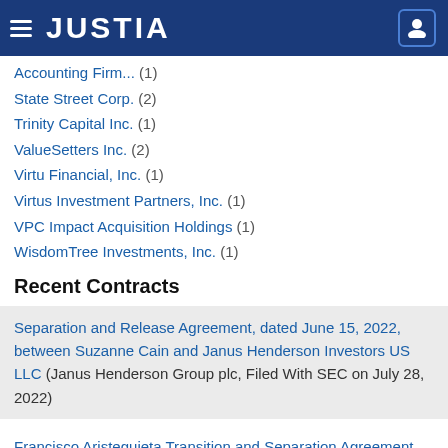JUSTIA
Accounting Firm (truncated) (1)
State Street Corp. (2)
Trinity Capital Inc. (1)
ValueSetters Inc. (2)
Virtu Financial, Inc. (1)
Virtus Investment Partners, Inc. (1)
VPC Impact Acquisition Holdings (1)
WisdomTree Investments, Inc. (1)
Recent Contracts
Separation and Release Agreement, dated June 15, 2022, between Suzanne Cain and Janus Henderson Investors US LLC (Janus Henderson Group plc, Filed With SEC on July 28, 2022)
Francisco Aristeguieta Transition and Separation Agreement dated May 9, 2022 (State Street Corp., Filed